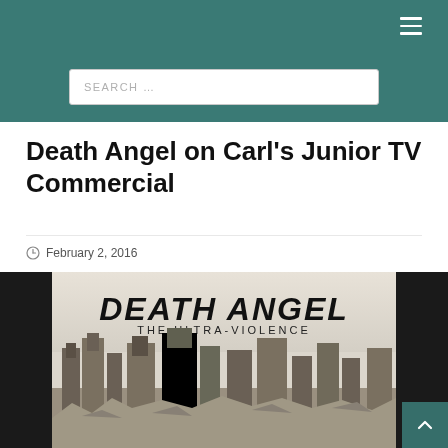Navigation bar with hamburger menu
SEARCH …
Death Angel on Carl's Junior TV Commercial
February 2, 2016
[Figure (photo): Album cover for Death Angel - The Ultra-Violence, showing the band logo in stylized metal lettering at top, subtitle 'The Ultra-Violence' below it, and a black-and-white illustration of bombed/ruined buildings and rubble below that. The image has black bars on left and right sides.]